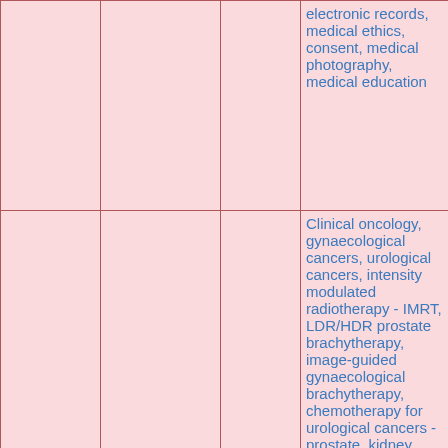|  |  |  |  |
| --- | --- | --- | --- |
|  |  |  | electronic records, medical ethics, consent, medical photography, medical education |
| vulva | *Consultant(s)* | *Towns* | Clinical oncology, gynaecological cancers, urological cancers, intensity modulated radiotherapy - IMRT, LDR/HDR prostate brachytherapy, image-guided gynaecological brachytherapy, chemotherapy for urological cancers - prostate, kidney, urinary bladder, chemotherapy and novel agents for gynaecological cancers - ovary, uterus, cervix, vulva, |